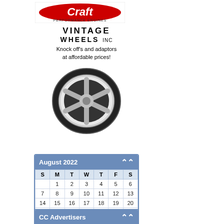[Figure (logo): Craft Performance Engines logo with red and black text on white background]
[Figure (illustration): Vintage Wheels Inc advertisement with chrome wheel/knockoff image and text: VINTAGE WHEELS INC, Knock off's and adaptors at affordable prices!]
| S | M | T | W | T | F | S |
| --- | --- | --- | --- | --- | --- | --- |
|  | 1 | 2 | 3 | 4 | 5 | 6 |
| 7 | 8 | 9 | 10 | 11 | 12 | 13 |
| 14 | 15 | 16 | 17 | 18 | 19 | 20 |
| 21 | 22 | 23 | 24 | 25 | 26 | 27 |
| 28 | 29 | 30 | 31 |  |  |  |
CC Advertisers